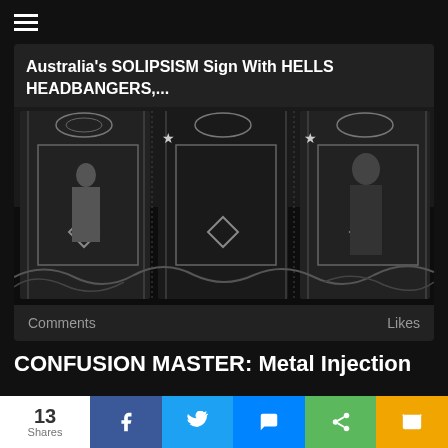≡
Australia's SOLIPSISM Sign With HELLS HEADBANGERS,...
[Figure (photo): Black and white band photo of SOLIPSISM with ornate decorative border overlay]
Comments   Likes
CONFUSION MASTER: Metal Injection
13 Shares